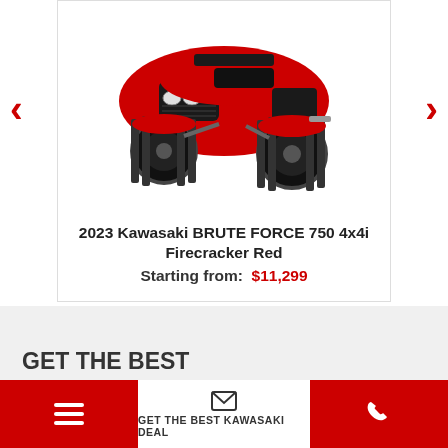[Figure (photo): 2023 Kawasaki BRUTE FORCE 750 4x4i ATV in Firecracker Red color, front-angled view showing the quad with large off-road tires, red body panels, and black accents]
2023 Kawasaki BRUTE FORCE 750 4x4i Firecracker Red
Starting from: $11,299
[Figure (infographic): Three dot carousel indicators: one dark/selected dot and two red dots]
GET THE BEST
GET THE BEST KAWASAKI DEAL